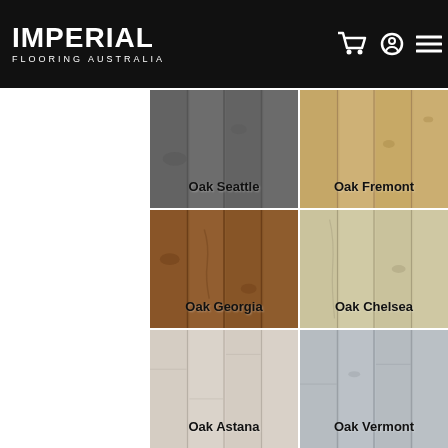IMPERIAL FLOORING AUSTRALIA
[Figure (illustration): Grid of 6 oak flooring colour swatches: Oak Seattle (grey), Oak Fremont (light tan), Oak Georgia (warm brown), Oak Chelsea (light beige), Oak Astana (pale blush), Oak Vermont (light grey)]